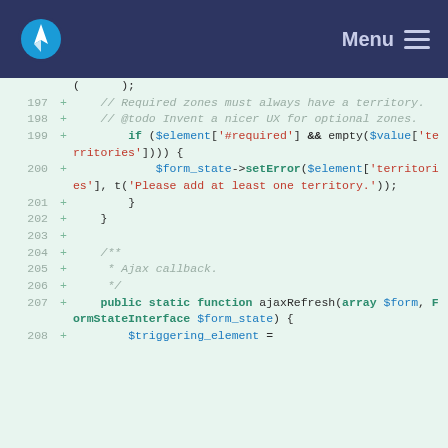Menu
[Figure (screenshot): Code diff viewer showing PHP code lines 197-208 with line numbers, plus signs, and syntax highlighting on a light green background.]